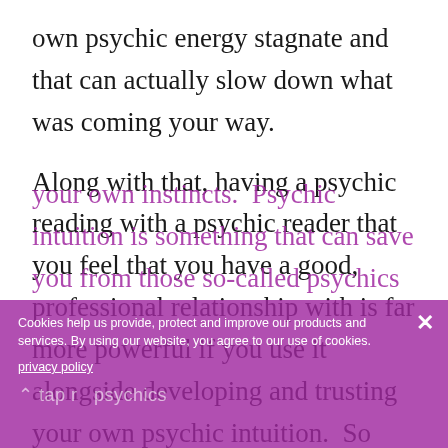own psychic energy stagnate and that can actually slow down what was coming your way.
Along with that, having a psychic reading with a psychic reader that you feel that you have a good, professional relationship with is far more powerful if you use it alongside developing and trusting your own psychic intuition.  So keep that dream journal, notice all the signs and synchronicities in your life and pay attention to your own instincts.  Psychic intuition is something that can save you from those so-called psychics
Cookies help us provide, protect and improve our products and services. By using our website, you agree to our use of cookies. privacy policy
tap r psychics